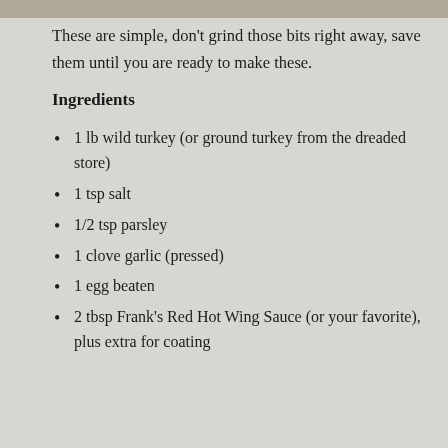These are simple, don't grind those bits right away, save them until you are ready to make these.
Ingredients
1 lb wild turkey (or ground turkey from the dreaded store)
1 tsp salt
1/2 tsp parsley
1 clove garlic (pressed)
1 egg beaten
2 tbsp Frank's Red Hot Wing Sauce (or your favorite), plus extra for coating